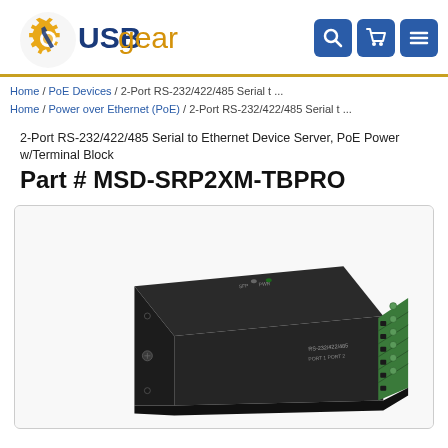USBgear — header with logo and navigation icons
Home / PoE Devices / 2-Port RS-232/422/485 Serial t ...
Home / Power over Ethernet (PoE) / 2-Port RS-232/422/485 Serial t ...
2-Port RS-232/422/485 Serial to Ethernet Device Server, PoE Power w/Terminal Block
Part # MSD-SRP2XM-TBPRO
[Figure (photo): Photo of a black metal 2-port RS-232/422/485 serial to Ethernet device server with green terminal block connectors visible on the right side]